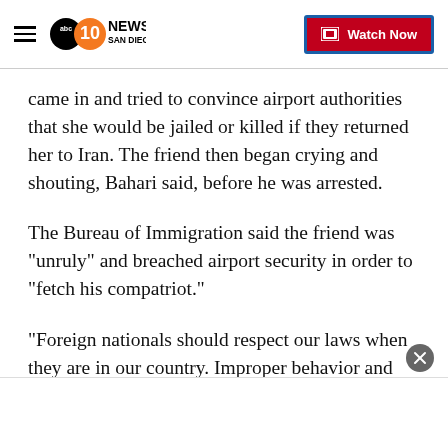10 News San Diego (ABC) — Watch Now
came in and tried to convince airport authorities that she would be jailed or killed if they returned her to Iran. The friend then began crying and shouting, Bahari said, before he was arrested.
The Bureau of Immigration said the friend was "unruly" and breached airport security in order to "fetch his compatriot."
"Foreign nationals should respect our laws when they are in our country. Improper behavior and derogatory remarks gave the officer further reason to deny Zare